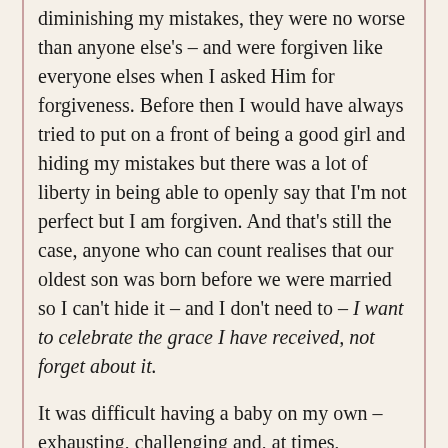diminishing my mistakes, they were no worse than anyone else's – and were forgiven like everyone elses when I asked Him for forgiveness. Before then I would have always tried to put on a front of being a good girl and hiding my mistakes but there was a lot of liberty in being able to openly say that I'm not perfect but I am forgiven. And that's still the case, anyone who can count realises that our oldest son was born before we were married so I can't hide it – and I don't need to – I want to celebrate the grace I have received, not forget about it.
It was difficult having a baby on my own – exhausting, challenging and, at times, overwhelming. But there were moments of grace in each day and I know that God gave me the strength for a task that seemed too big for me. I've since had 4